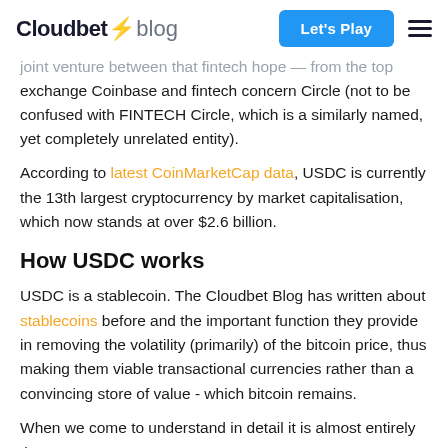Cloudbet blog | Let's Play
joint venture between that fintech hope — from the top exchange Coinbase and fintech concern Circle (not to be confused with FINTECH Circle, which is a similarly named, yet completely unrelated entity).
According to latest CoinMarketCap data, USDC is currently the 13th largest cryptocurrency by market capitalisation, which now stands at over $2.6 billion.
How USDC works
USDC is a stablecoin. The Cloudbet Blog has written about stablecoins before and the important function they provide in removing the volatility (primarily) of the bitcoin price, thus making them viable transactional currencies rather than a convincing store of value - which bitcoin remains.
When we come to understand in detail it is almost entirely the...